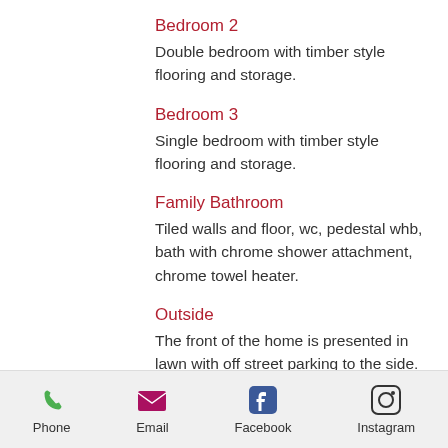Bedroom 2
Double bedroom with timber style flooring and storage.
Bedroom 3
Single bedroom with timber style flooring and storage.
Family Bathroom
Tiled walls and floor, wc, pedestal whb, bath with chrome shower attachment, chrome towel heater.
Outside
The front of the home is presented in lawn with off street parking to the side. A gated side passageway leads one to the private sun filled rear garden which is presented in lawn with barbecue borders and a patio. A
Phone  Email  Facebook  Instagram